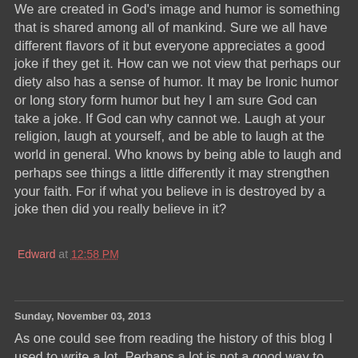We are created in God's image and humor is something that is shared among all of mankind.  Sure we all have different flavors of it but everyone appreciates a good joke if they get it.  How can we not view that perhaps our diety also has a sense of humor.  It may be Ironic humor or long story form humor but hey I am sure God can take a joke.  If God can why cannot we.  Laugh at your religion, laugh at yourself, and be able to laugh at the world in general.  Who knows by being able to laugh and perhaps see things a little differently it may strengthen your faith.  For if what you believe in is destroyed by a joke then did you really believe in it?
Edward at 12:58 PM
Share
Sunday, November 03, 2013
As one could see from reading the history of this blog I used to write a lot.  Perhaps a lot is not a good way to phrase that.  I used to unleash a flood of words and letters upon a blank